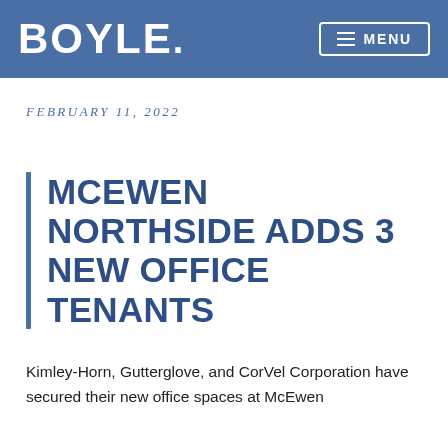BOYLE. MENU
FEBRUARY 11, 2022
MCEWEN NORTHSIDE ADDS 3 NEW OFFICE TENANTS
Kimley-Horn, Gutterglove, and CorVel Corporation have secured their new office spaces at McEwen